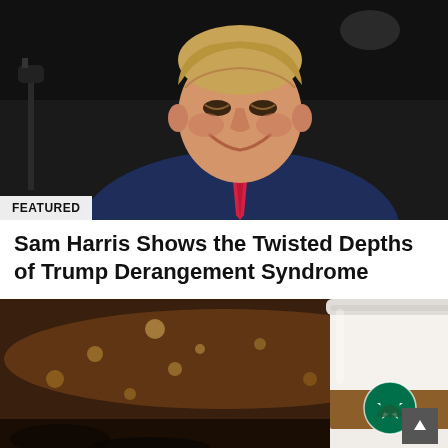[Figure (photo): Man in dark navy suit with pink/red tie smiling, photographed against a dark background with a microphone visible on the left. 'FEATURED' badge in lower left corner.]
Sam Harris Shows the Twisted Depths of Trump Derangement Syndrome
[Figure (photo): Starbucks coffee cup in foreground with blurred cafe interior background showing warm bokeh lights. Scroll-up arrow button visible in lower right.]